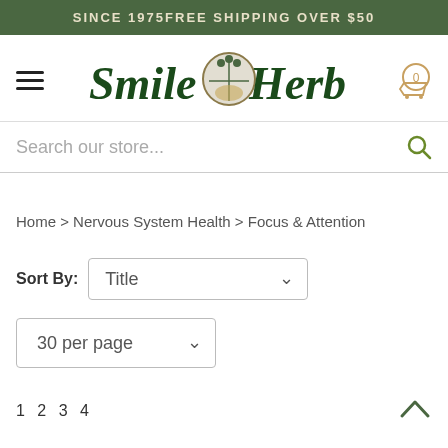SINCE 1975   FREE SHIPPING OVER $50
[Figure (logo): Smile Herb shop logo with circular plant emblem between the words]
Search our store...
Home > Nervous System Health > Focus & Attention
Sort By: Title
30 per page
1 2 3 4